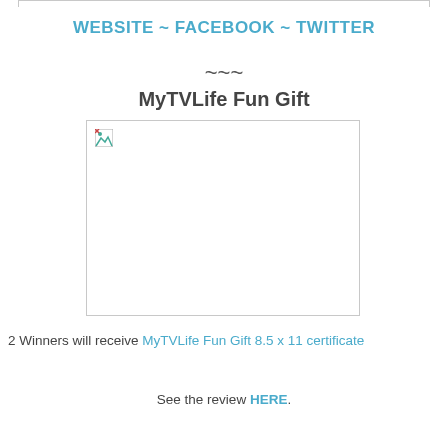WEBSITE ~ FACEBOOK ~ TWITTER
~~~
MyTVLife Fun Gift
[Figure (photo): Broken/missing image placeholder with small broken image icon in top-left corner, inside a light gray bordered rectangle]
2 Winners will receive MyTVLife Fun Gift 8.5 x 11 certificate
See the review HERE.